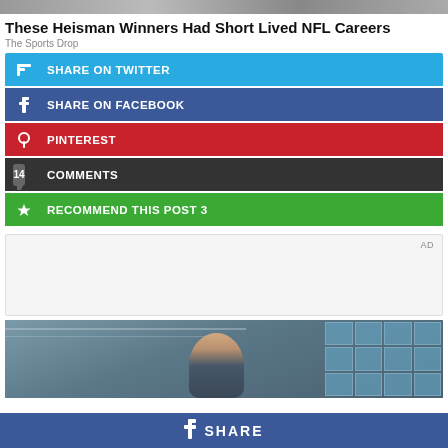[Figure (photo): Top banner image strip (partial, cropped)]
These Heisman Winners Had Short Lived NFL Careers
The Sports Drop
SHARE ON TWITTER
SHARE ON FACEBOOK
PINTEREST
14 COMMENTS
RECOMMEND THIS POST 3
[Figure (photo): Advertisement placeholder with AD label]
[Figure (photo): Photo of a young man standing in front of a glass-grid building facade]
SHARE